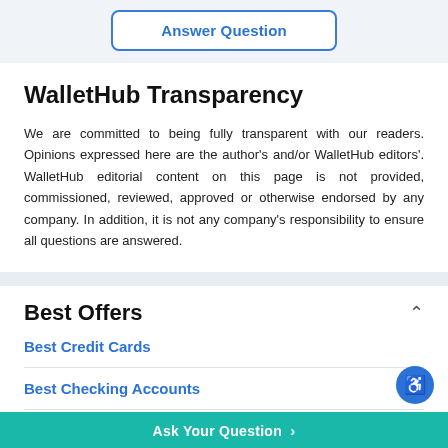[Figure (other): Answer Question button - blue outlined rounded rectangle button with blue bold text]
WalletHub Transparency
We are committed to being fully transparent with our readers. Opinions expressed here are the author's and/or WalletHub editors'. WalletHub editorial content on this page is not provided, commissioned, reviewed, approved or otherwise endorsed by any company. In addition, it is not any company's responsibility to ensure all questions are answered.
Best Offers
Best Credit Cards
Best Checking Accounts
Best Savings Accounts
Ask Your Question >